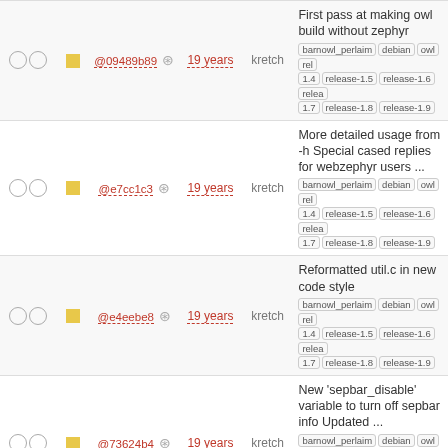|  |  | hash | age | author | message/tags |
| --- | --- | --- | --- | --- | --- |
| ○○ | □ | @09489b89 ⚙ | 19 years | kretch | First pass at making owl build without zephyr | barnowl_perlaim debian owl rel 1.4 release-1.5 release-1.6 relea 1.7 release-1.8 release-1.9 |
| ○○ | □ | @e7cc1c3 ⚙ | 19 years | kretch | More detailed usage from -h Special cased replies for webzephyr users ... | barnowl_perlaim debian owl rel 1.4 release-1.5 release-1.6 relea 1.7 release-1.8 release-1.9 |
| ○○ | □ | @e4eebe8 ⚙ | 19 years | kretch | Reformatted util.c in new code style | barnowl_perlaim debian owl rel 1.4 release-1.5 release-1.6 relea 1.7 release-1.8 release-1.9 |
| ○○ | □ | @73624b4 ⚙ | 19 years | kretch | New 'sepbar_disable' variable to turn off sepbar info Updated ... | barnowl_perlaim debian owl rel 1.4 release-1.5 release-1.6 relea 1.7 release-1.8 release-1.9 |
| ○○ | □ | @5ea6fea ⚙ | 19 years | kretch | Made the oneline format a little more compact and stripped off local ... | barnowl_perlaim debian owl rel 1.4 release-1.5 release-1.6 relea 1.7 release-1.8 release-1.9 |
| ○○ | □ | @b2b0773 ⚙ | 19 years | kretch | Changes to help build on OSX | barnowl_perlaim debian owl rel 1.4 release-1.5 release-1.6 relea 1.7 release-1.8 release-1.9 |
| ○○ | □ | @279fa14 ⚙ | 19 years | kretch | Fixed bug in 'startup' command | barnowl_perlaim debian owl |